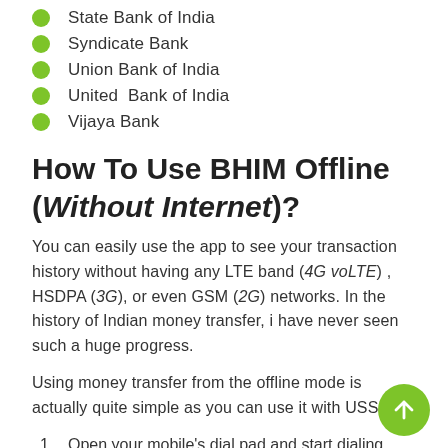State Bank of India
Syndicate Bank
Union Bank of India
United Bank of India
Vijaya Bank
How To Use BHIM Offline (Without Internet)?
You can easily use the app to see your transaction history without having any LTE band (4G voLTE) , HSDPA (3G), or even GSM (2G) networks. In the history of Indian money transfer, i have never seen such a huge progress.
Using money transfer from the offline mode is actually quite simple as you can use it with USSD.
Open your mobile's dial pad and start dialing *99# from any operators like airtel, idea, reliance, BSNL.